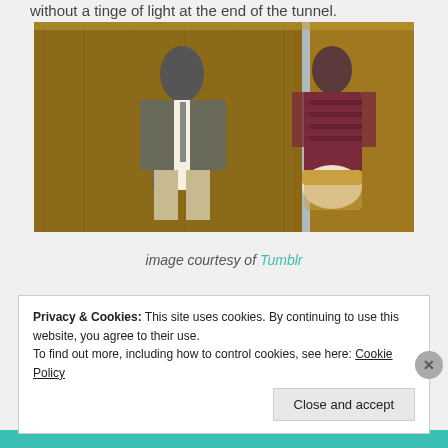without a tinge of light at the end of the tunnel.
[Figure (photo): Two people standing in an elevator with wood-paneled walls. A man in a suit on the left and a woman in a striped dress on the right, both looking serious.]
image courtesy of Tumblr
Privacy & Cookies: This site uses cookies. By continuing to use this website, you agree to their use.
To find out more, including how to control cookies, see here: Cookie Policy
Close and accept